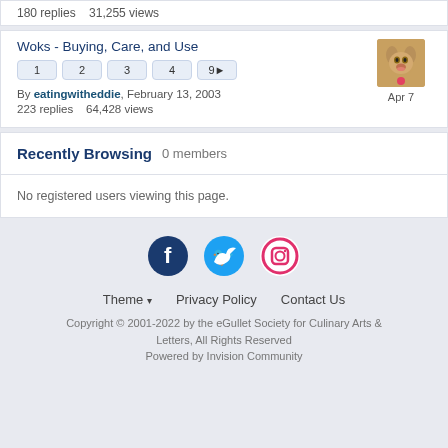180 replies   31,255 views
Woks - Buying, Care, and Use
1 2 3 4 9▶
By eatingwitheddie, February 13, 2003
223 replies   64,428 views
Apr 7
Recently Browsing   0 members
No registered users viewing this page.
Theme ▾   Privacy Policy   Contact Us
Copyright © 2001-2022 by the eGullet Society for Culinary Arts & Letters, All Rights Reserved
Powered by Invision Community